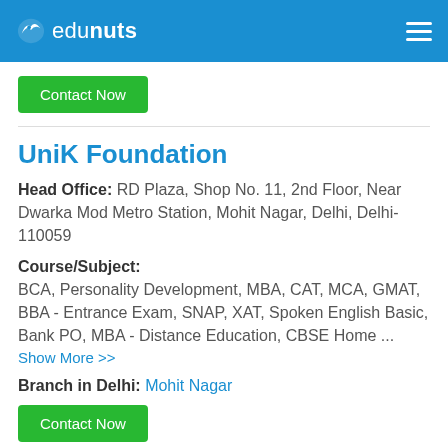edunuts
Contact Now
UniK Foundation
Head Office: RD Plaza, Shop No. 11, 2nd Floor, Near Dwarka Mod Metro Station, Mohit Nagar, Delhi, Delhi-110059
Course/Subject:
BCA, Personality Development, MBA, CAT, MCA, GMAT, BBA - Entrance Exam, SNAP, XAT, Spoken English Basic, Bank PO, MBA - Distance Education, CBSE Home ...
Show More >>
Branch in Delhi: Mohit Nagar
Contact Now